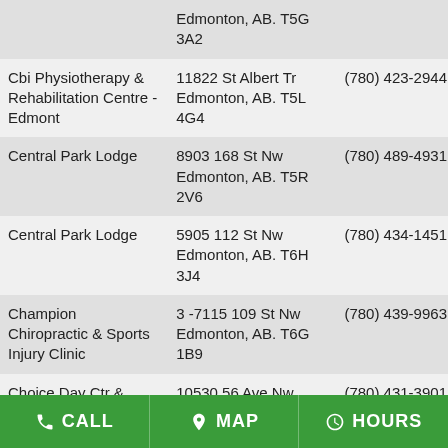| Name | Address | Phone |
| --- | --- | --- |
|  | Edmonton, AB. T5G 3A2 |  |
| Cbi Physiotherapy & Rehabilitation Centre - Edmont | 11822 St Albert Tr Edmonton, AB. T5L 4G4 | (780) 423-2944 |
| Central Park Lodge | 8903 168 St Nw Edmonton, AB. T5R 2V6 | (780) 489-4931 |
| Central Park Lodge | 5905 112 St Nw Edmonton, AB. T6H 3J4 | (780) 434-1451 |
| Champion Chiropractic & Sports Injury Clinic | 3 -7115 109 St Nw Edmonton, AB. T6G 1B9 | (780) 439-9963 |
| Choice Day Ctr & Clinic | 10530 56 Ave Nw Edmonton, AB. T6H 0X7 | (780) 431-3901 |
| Choice Program | 10410 111 Ave Nw Edmonton, AB. T5G 3A2 | (780) 944-8662 |
| Clareview Family Medical Clinic | 4950 137 Ave Nw Edmonton, AB. T5Y 2V4 | (780) 479-1999 |
| Community Care & Public Health | 10216 124 St Nw #300 Edmonton, AB. T5N 4A3 | (780) 413-7900 |